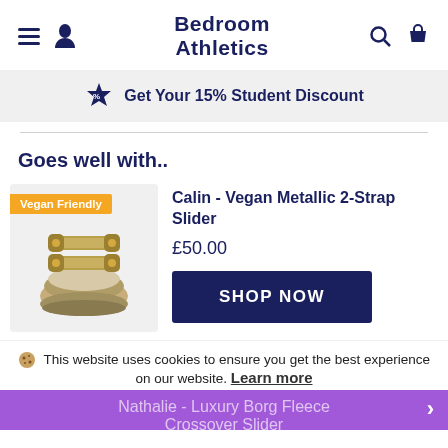Bedroom Athletics
Get Your 15% Student Discount
Goes well with..
[Figure (photo): Gold metallic 2-strap sandal sliders with fluffy lining, shown from above on grey background with 'Vegan Friendly' orange badge]
Calin - Vegan Metallic 2-Strap Slider
£50.00
SHOP NOW
This website uses cookies to ensure you get the best experience on our website. Learn more
Nathalie - Luxury Borg Fleece Crossover Slider